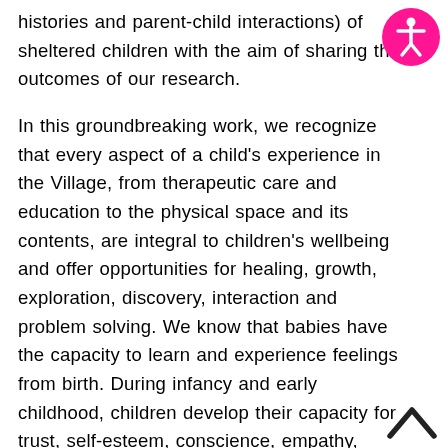histories and parent-child interactions) of sheltered children with the aim of sharing the outcomes of our research.

In this groundbreaking work, we recognize that every aspect of a child's experience in the Village, from therapeutic care and education to the physical space and its contents, are integral to children's wellbeing and offer opportunities for healing, growth, exploration, discovery, interaction and problem solving. We know that babies have the capacity to learn and experience feelings from birth. During infancy and early childhood, children develop their capacity for trust, self-esteem, conscience, empathy, problem solving, focused learning and self-control.
[Figure (illustration): Pink circular accessibility icon with white human figure in center (universal accessibility symbol)]
[Figure (illustration): Dark upward-pointing chevron/caret arrow icon for scrolling up]